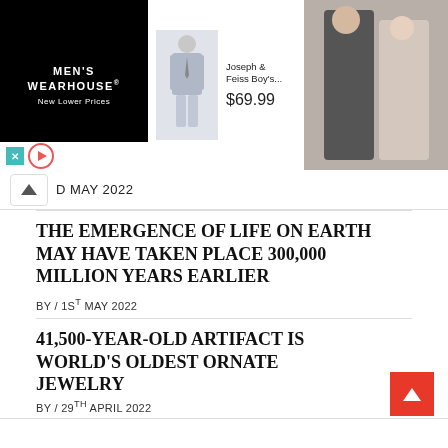[Figure (screenshot): Men's Wearhouse advertisement banner with boy in suit, price $69.99, and couple photo on right]
D MAY 2022
THE EMERGENCE OF LIFE ON EARTH MAY HAVE TAKEN PLACE 300,000 MILLION YEARS EARLIER
BY / 1ST MAY 2022
41,500-YEAR-OLD ARTIFACT IS WORLD'S OLDEST ORNATE JEWELRY
BY / 29TH APRIL 2022